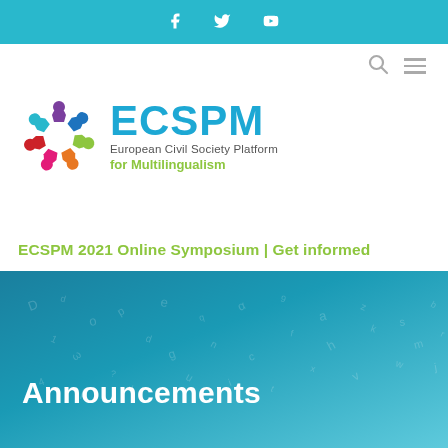f  ⊓  ▶ (Facebook, Twitter, YouTube social icons)
[Figure (logo): ECSPM logo — circular colorful people icon with text: ECSPM, European Civil Society Platform for Multilingualism]
ECSPM 2021 Online Symposium | Get informed
[Figure (illustration): Teal/blue gradient banner with scattered white letters/characters and the word Announcements in white bold text at bottom left]